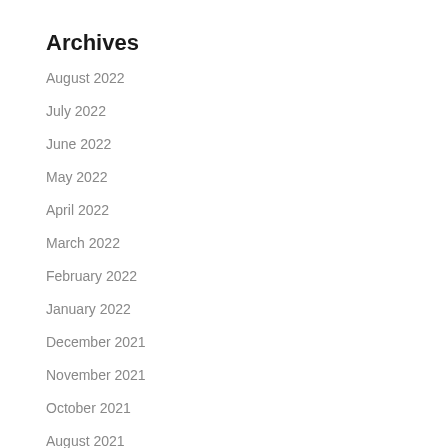Archives
August 2022
July 2022
June 2022
May 2022
April 2022
March 2022
February 2022
January 2022
December 2021
November 2021
October 2021
August 2021
July 2021